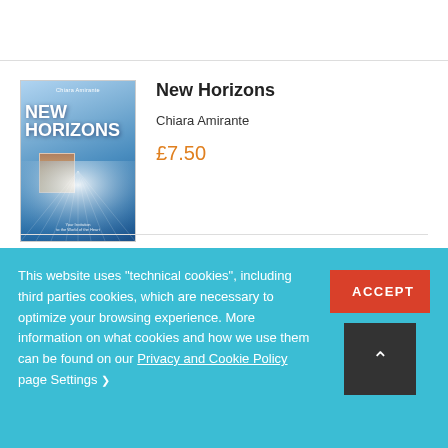[Figure (illustration): Book cover for 'New Horizons' by Chiara Amirante, featuring blue rays of light radiating from a central bright point, with a small portrait photo of the author in the center, white bold title text 'NEW HORIZONS', and subtitle text at the bottom.]
New Horizons
Chiara Amirante
£7.50
This website uses “technical cookies”, including third parties cookies, which are necessary to optimize your browsing experience. More information on what cookies and how we use them can be found on our Privacy and Cookie Policy page Settings ›